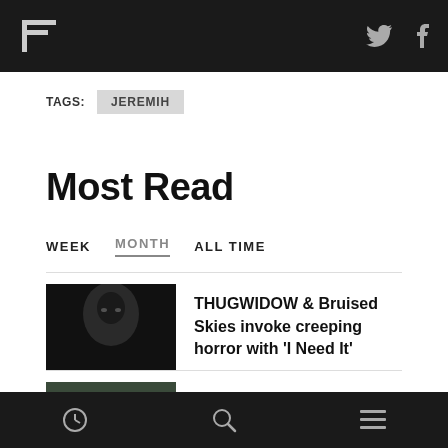F [logo] Twitter Facebook
TAGS: JEREMIH
Most Read
WEEK  MONTH  ALL TIME
THUGWIDOW & Bruised Skies invoke creeping horror with 'I Need It'
Fact Mix 869: MLE
[clock icon] [search icon] [menu icon]